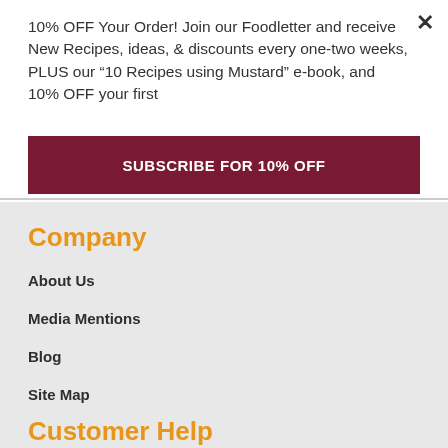10% OFF Your Order! Join our Foodletter and receive New Recipes, ideas, & discounts every one-two weeks, PLUS our “10 Recipes using Mustard” e-book, and 10% OFF your first
SUBSCRIBE for 10% OFF
Company
About Us
Media Mentions
Blog
Site Map
Customer Help